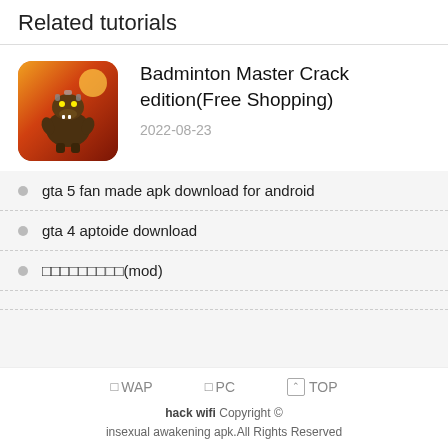Related tutorials
[Figure (illustration): App icon showing a dinosaur robot warrior with orange/red gradient background]
Badminton Master Crack edition(Free Shopping)
2022-08-23
gta 5 fan made apk download for android
gta 4 aptoide download
□□□□□□□□□(mod)
□WAP  □PC  ⌃TOP
hack wifi Copyright ©
insexual awakening apk.All Rights Reserved